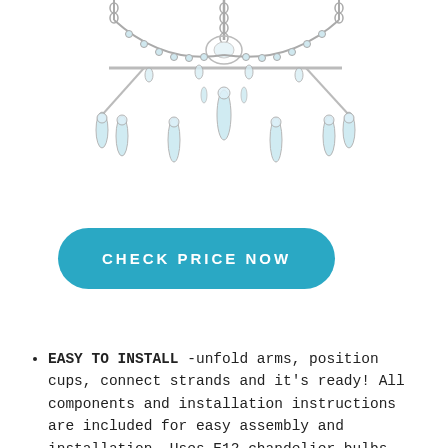[Figure (photo): Crystal chandelier with chains, crystal strands, and teardrop pendants, shown from below/side angle on white background.]
CHECK PRICE NOW
EASY TO INSTALL -unfold arms, position cups, connect strands and it's ready! All components and installation instructions are included for easy assembly and installation. Uses E12 chandelier bulbs (BULBS NOT INCLUDED). The